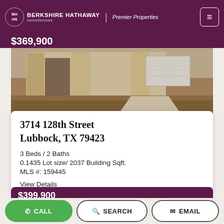BERKSHIRE HATHAWAY HomeServices | Premier Properties
$369,900
[Figure (photo): Exterior photo of a single-story home with stone pillars and a garage, surrounded by dirt/mulch landscaping]
3714 128th Street
Lubbock, TX 79423
3 Beds / 2 Baths
0.1435 Lot size/ 2037 Building Sqft.
MLS #: 159445
View Details
$399,900
CALL
SEARCH
EMAIL